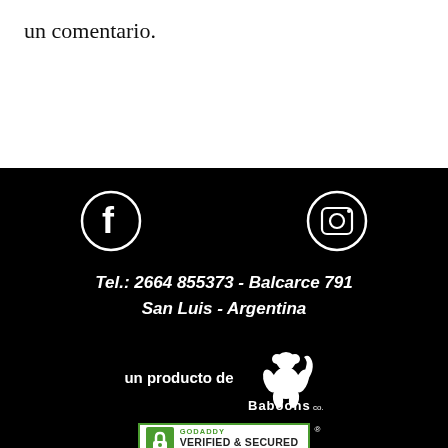un comentario.
[Figure (illustration): Facebook icon circle (white outline and F logo on black background) and Instagram icon circle (white outline and camera logo on black background)]
Tel.: 2664 855373 - Balcarce 791
San Luis - Argentina
[Figure (logo): Baboons Co. logo — white baboon silhouette above the text 'Baboons co.' in white on black background, with 'un producto de' label to the left]
[Figure (other): GoDaddy Verified & Secured badge with lock icon and 'VERIFY SECURITY' text]